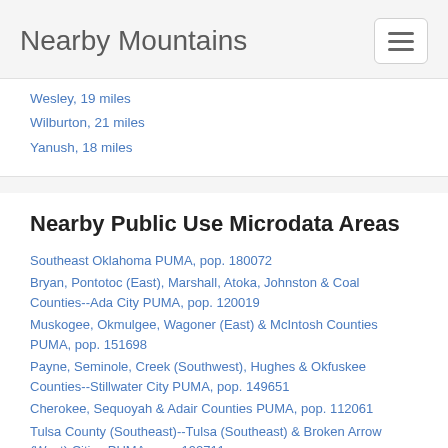Nearby Mountains
Wesley, 19 miles
Wilburton, 21 miles
Yanush, 18 miles
Nearby Public Use Microdata Areas
Southeast Oklahoma PUMA, pop. 180072
Bryan, Pontotoc (East), Marshall, Atoka, Johnston & Coal Counties--Ada City PUMA, pop. 120019
Muskogee, Okmulgee, Wagoner (East) & McIntosh Counties PUMA, pop. 151698
Payne, Seminole, Creek (Southwest), Hughes & Okfuskee Counties--Stillwater City PUMA, pop. 149651
Cherokee, Sequoyah & Adair Counties PUMA, pop. 112061
Tulsa County (Southeast)--Tulsa (Southeast) & Broken Arrow (West) Cities PUMA, pop. 192711
Sebastian & Crawford Counties PUMA, pop. 187692
Logan, Polk, Franklin, Sevier, Howard & Scott Counties PUMA, pop. 103220